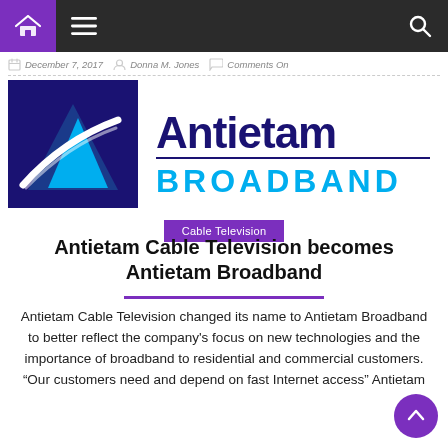Navigation bar with home, menu, and search icons
December 7, 2017  Donna M. Jones  Comments On
[Figure (logo): Antietam Broadband logo with dark blue triangle and cyan swirl on the left side, and 'Antietam BROADBAND' text in dark blue and cyan on white background]
Cable Television
Antietam Cable Television becomes Antietam Broadband
Antietam Cable Television changed its name to Antietam Broadband to better reflect the company's focus on new technologies and the importance of broadband to residential and commercial customers. “Our customers need and depend on fast Internet access” Antietam